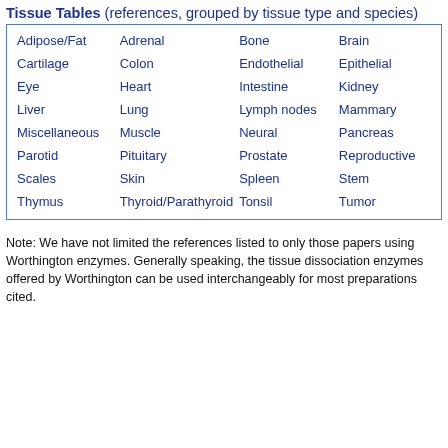Tissue Tables (references, grouped by tissue type and species)
| Col1 | Col2 | Col3 | Col4 |
| --- | --- | --- | --- |
| Adipose/Fat | Adrenal | Bone | Brain |
| Cartilage | Colon | Endothelial | Epithelial |
| Eye | Heart | Intestine | Kidney |
| Liver | Lung | Lymph nodes | Mammary |
| Miscellaneous | Muscle | Neural | Pancreas |
| Parotid | Pituitary | Prostate | Reproductive |
| Scales | Skin | Spleen | Stem |
| Thymus | Thyroid/Parathyroid | Tonsil | Tumor |
Note: We have not limited the references listed to only those papers using Worthington enzymes. Generally speaking, the tissue dissociation enzymes offered by Worthington can be used interchangeably for most preparations cited.